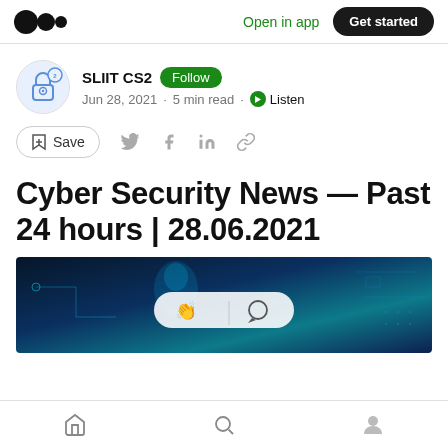Open in app  Get started
SLIIT CS2  Follow
Jun 28, 2021 · 5 min read · Listen
Save
Cyber Security News — Past 24 hours | 28.06.2021
[Figure (photo): Cyber security themed image with dark blue digital background, circuit patterns, and a humanoid figure silhouette. A white pill-shaped overlay in the center contains clapping hands and speech bubble icons.]
Home  Search  Profile